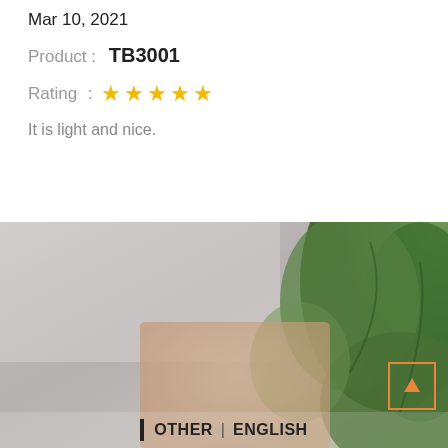Mar 10, 2021
Product : TB3001
Rating : ★★★★★
It is light and nice.
[Figure (photo): Blurred background photo of a monstera plant and a beige object on a gray surface, with a dark semi-transparent social media panel overlay.]
KROLL TITANIUM
@KROLL TITANIUM
OTHER | ENGLISH